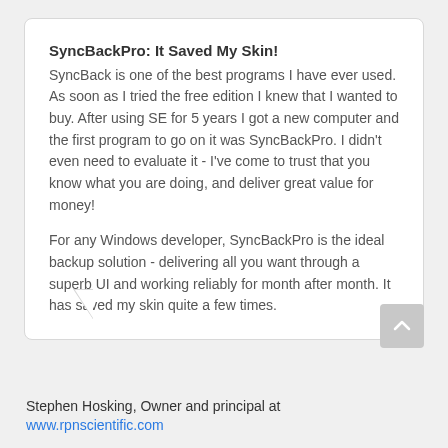SyncBackPro: It Saved My Skin!
SyncBack is one of the best programs I have ever used. As soon as I tried the free edition I knew that I wanted to buy. After using SE for 5 years I got a new computer and the first program to go on it was SyncBackPro. I didn't even need to evaluate it - I've come to trust that you know what you are doing, and deliver great value for money!
For any Windows developer, SyncBackPro is the ideal backup solution - delivering all you want through a superb UI and working reliably for month after month. It has saved my skin quite a few times.
Stephen Hosking, Owner and principal at
www.rpnscientific.com